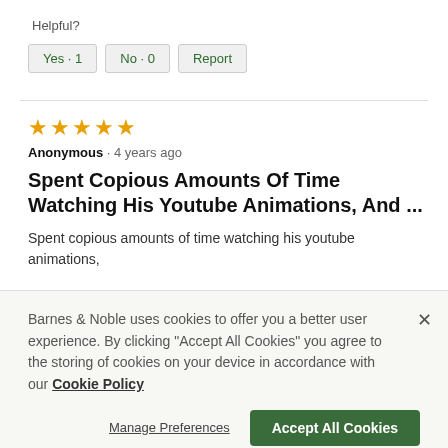Helpful?
Yes · 1   No · 0   Report
★★★★★
Anonymous · 4 years ago
Spent Copious Amounts Of Time Watching His Youtube Animations, And ...
Spent copious amounts of time watching his youtube animations,
Barnes & Noble uses cookies to offer you a better user experience. By clicking "Accept All Cookies" you agree to the storing of cookies on your device in accordance with our Cookie Policy
Manage Preferences   Accept All Cookies